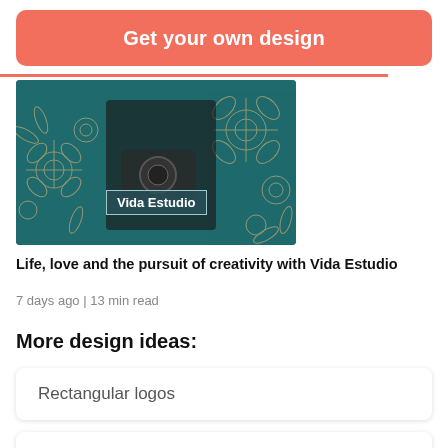Get your own design
[Figure (photo): Photo of a person holding a camera with floral background overlay and 'Vida Estudio' label]
Life, love and the pursuit of creativity with Vida Estudio
7 days ago | 13 min read
More design ideas:
Rectangular logos
Analytics logos